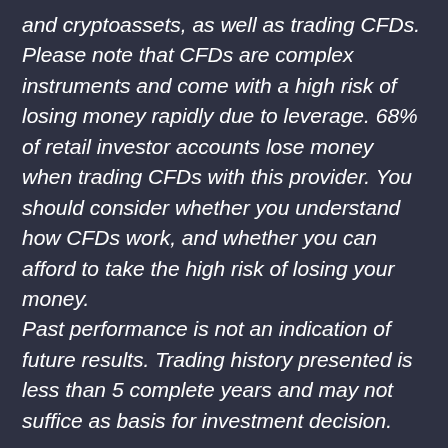and cryptoassets, as well as trading CFDs. Please note that CFDs are complex instruments and come with a high risk of losing money rapidly due to leverage. 68% of retail investor accounts lose money when trading CFDs with this provider. You should consider whether you understand how CFDs work, and whether you can afford to take the high risk of losing your money. Past performance is not an indication of future results. Trading history presented is less than 5 complete years and may not suffice as basis for investment decision.